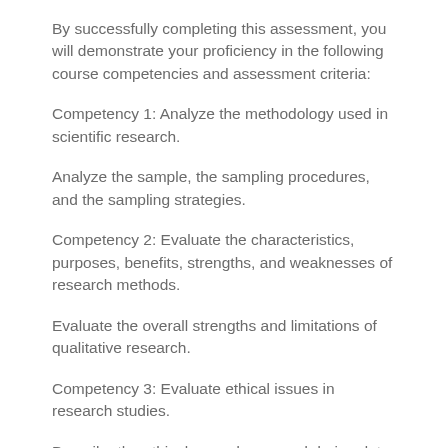By successfully completing this assessment, you will demonstrate your proficiency in the following course competencies and assessment criteria:
Competency 1: Analyze the methodology used in scientific research.
Analyze the sample, the sampling procedures, and the sampling strategies.
Competency 2: Evaluate the characteristics, purposes, benefits, strengths, and weaknesses of research methods.
Evaluate the overall strengths and limitations of qualitative research.
Competency 3: Evaluate ethical issues in research studies.
Describe the ethical procedures used during data